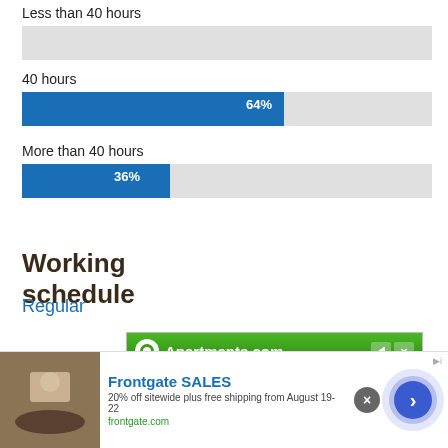Less than 40 hours
[Figure (bar-chart): Hours worked per week]
Working schedule
Regular
[Figure (other): Apartments.com advertisement banner showing The Copley Group]
[Figure (other): Frontgate SALES advertisement: 20% off sitewide plus free shipping from August 19-22, frontgate.com]